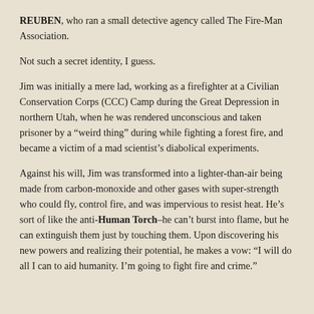REUBEN, who ran a small detective agency called The Fire-Man Association.
Not such a secret identity, I guess.
Jim was initially a mere lad, working as a firefighter at a Civilian Conservation Corps (CCC) Camp during the Great Depression in northern Utah, when he was rendered unconscious and taken prisoner by a “weird thing” during while fighting a forest fire, and became a victim of a mad scientist’s diabolical experiments.
Against his will, Jim was transformed into a lighter-than-air being made from carbon-monoxide and other gases with super-strength who could fly, control fire, and was impervious to resist heat. He’s sort of like the anti-Human Torch–he can’t burst into flame, but he can extinguish them just by touching them. Upon discovering his new powers and realizing their potential, he makes a vow: “I will do all I can to aid humanity. I’m going to fight fire and crime.”